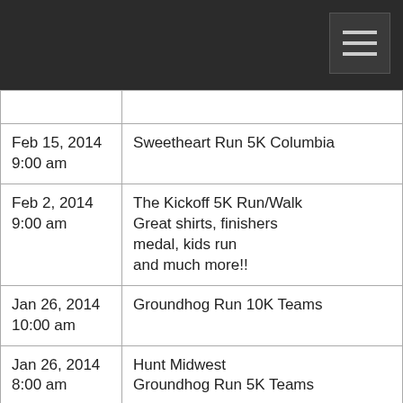|  |  |
| Feb 15, 2014
9:00 am | Sweetheart Run 5K Columbia |
| Feb 2, 2014
9:00 am | The Kickoff 5K Run/Walk
Great shirts, finishers medal, kids run and much more!! |
| Jan 26, 2014
10:00 am | Groundhog Run 10K Teams |
| Jan 26, 2014
8:00 am | Hunt Midwest
Groundhog Run 5K Teams |